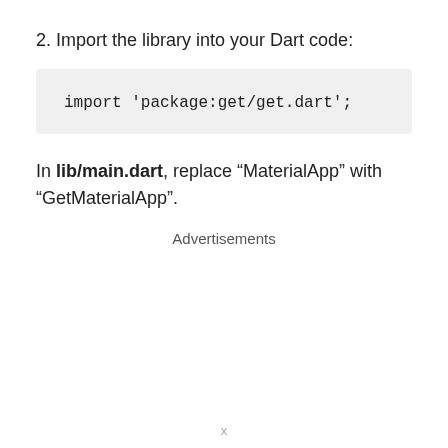2. Import the library into your Dart code:
import 'package:get/get.dart';
In lib/main.dart, replace “MaterialApp” with “GetMaterialApp”.
Advertisements
x